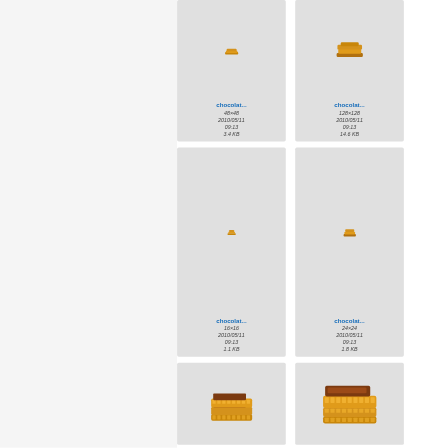[Figure (screenshot): File browser grid showing chocolate icon files. Row 1: 'chocolat...' 48x48 2010/05/11 09:13 3.4 KB (small icon), 'chocolat...' 128x128 2010/05/11 09:13 14.6 KB (larger icon). Row 2: 'chocolat...' 16x16 2010/05/11 09:13 1.1 KB (tiny icon), 'chocolat...' 24x24 2010/05/11 09:13 1.8 KB (small stacked icon). Row 3 (partial): two larger chocolate bar/stack icons visible.]